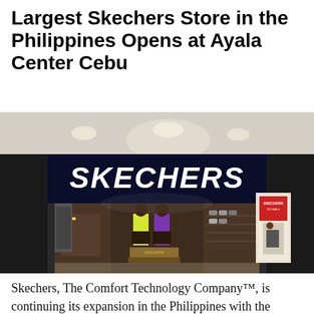Largest Skechers Store in the Philippines Opens at Ayala Center Cebu
[Figure (photo): Exterior view of the largest Skechers store in the Philippines at Ayala Center Cebu. The store front features a large illuminated SKECHERS sign in white bold letters on a dark navy background. The interior shows mannequins wearing athletic wear, shoe display shelves, and promotional banners.]
Skechers, The Comfort Technology Company™, is continuing its expansion in the Philippines with the